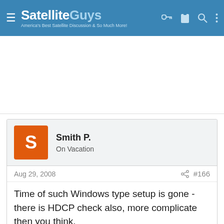SatelliteGuys — America's Best Satellite Discussion & So Much More!
[Figure (other): Advertisement banner area (blank white space)]
Smith P.
On Vacation
Aug 29, 2008   #166
Time of such Windows type setup is gone - there is HDCP check also, more complicate then you think.
Reply